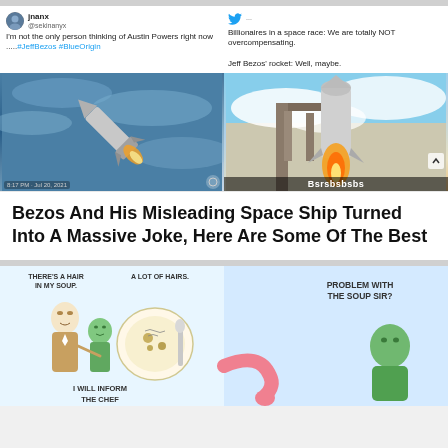[Figure (screenshot): Two tweets side by side. Left tweet by 'jnanx @sekinanyx': 'I'm not the only person thinking of Austin Powers right now .....#JeffBezos #BlueOrigin'. Right tweet: 'Billionaires in a space race: We are totally NOT overcompensating. Jeff Bezos' rocket: Well, maybe.']
[Figure (photo): Left: Photo of a rocket/projectile flying against a blue sky with clouds. Right: Photo of Blue Origin rocket on launch pad with flames.]
8:17 PM · Jul 20, 2021
Bsrsbsbsbs
Bezos And His Misleading Space Ship Turned Into A Massive Joke, Here Are Some Of The Best
[Figure (illustration): Comic strip showing a waiter and customer with soup. Text reads: 'THERE'S A HAIR IN MY SOUP.' 'A LOT OF HAIRS.' 'I WILL INFORM THE CHEF' 'PROBLEM WITH THE SOUP SIR?']